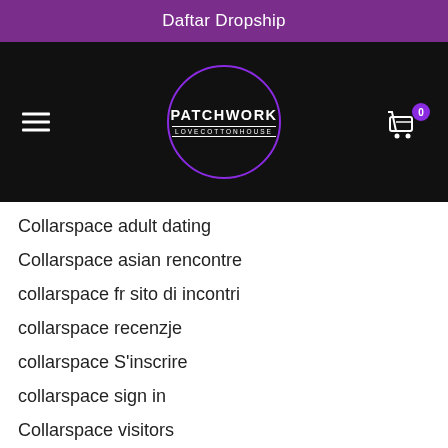Daftar Dropship
[Figure (logo): Patchwork Lovecottonhouse logo in a circle with purple border on black background, with hamburger menu and cart icon with badge 0]
Collarspace adult dating
Collarspace asian rencontre
collarspace fr sito di incontri
collarspace recenzje
collarspace S'inscrire
collarspace sign in
Collarspace visitors
Collarspace zaregistrovat